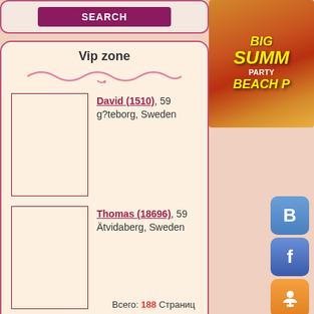SEARCH
Vip zone
David (1510), 59
g?teborg, Sweden
Thomas (18696), 59
Ätvidaberg, Sweden
Micke (17469), 59
, Sweden
[Figure (photo): Advertisement banner: BIG SUMMER PARTY BEACH P...]
[Figure (logo): Social media icons: VK, Facebook, Odnoklassniki, Twitter]
Всего: 188 Страниц